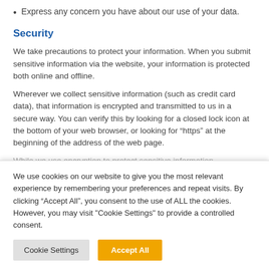Express any concern you have about our use of your data.
Security
We take precautions to protect your information. When you submit sensitive information via the website, your information is protected both online and offline.
Wherever we collect sensitive information (such as credit card data), that information is encrypted and transmitted to us in a secure way. You can verify this by looking for a closed lock icon at the bottom of your web browser, or looking for “https” at the beginning of the address of the web page.
While we use encryption to protect sensitive information
We use cookies on our website to give you the most relevant experience by remembering your preferences and repeat visits. By clicking “Accept All”, you consent to the use of ALL the cookies. However, you may visit "Cookie Settings" to provide a controlled consent.